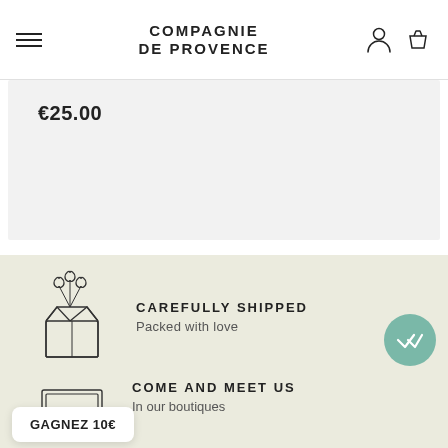COMPAGNIE DE PROVENCE
€25.00
[Figure (illustration): Gift box with heart balloons icon for 'Carefully Shipped' section]
CAREFULLY SHIPPED
Packed with love
[Figure (illustration): Store/boutique icon for 'Come and Meet Us' section]
COME AND MEET US
In our boutiques
GAGNEZ 10€